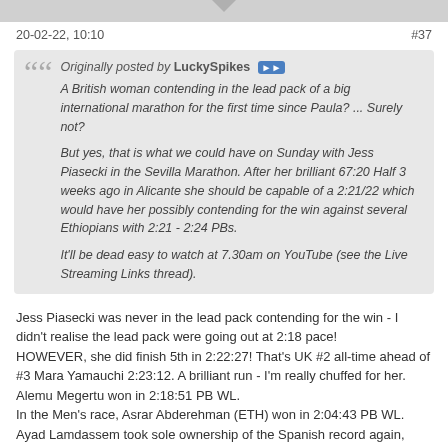20-02-22, 10:10   #37
Originally posted by LuckySpikes
A British woman contending in the lead pack of a big international marathon for the first time since Paula? ... Surely not?

But yes, that is what we could have on Sunday with Jess Piasecki in the Sevilla Marathon. After her brilliant 67:20 Half 3 weeks ago in Alicante she should be capable of a 2:21/22 which would have her possibly contending for the win against several Ethiopians with 2:21 - 2:24 PBs.

It'll be dead easy to watch at 7.30am on YouTube (see the Live Streaming Links thread).
Jess Piasecki was never in the lead pack contending for the win - I didn't realise the lead pack were going out at 2:18 pace!
HOWEVER, she did finish 5th in 2:22:27! That's UK #2 all-time ahead of #3 Mara Yamauchi 2:23:12. A brilliant run - I'm really chuffed for her.
Alemu Megertu won in 2:18:51 PB WL.
In the Men's race, Asrar Abderehman (ETH) won in 2:04:43 PB WL. Ayad Lamdassem took sole ownership of the Spanish record again, taking 10s off the previous mark with 2:06:25.
Awaiting results of all the other Brits competing (there doesn't seem to be a